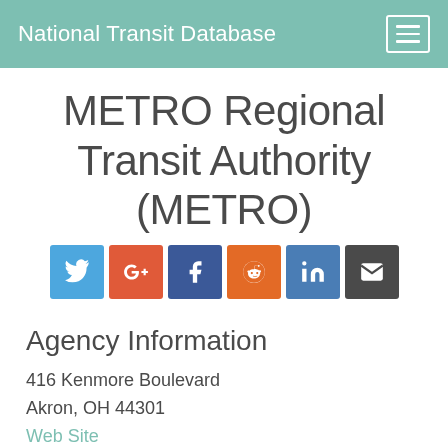National Transit Database
METRO Regional Transit Authority (METRO)
[Figure (infographic): Row of six social sharing buttons: Twitter (blue), Google+ (red-orange), Facebook (dark blue), Reddit (orange), LinkedIn (blue), Email (dark gray)]
Agency Information
416 Kenmore Boulevard
Akron, OH 44301
Web Site